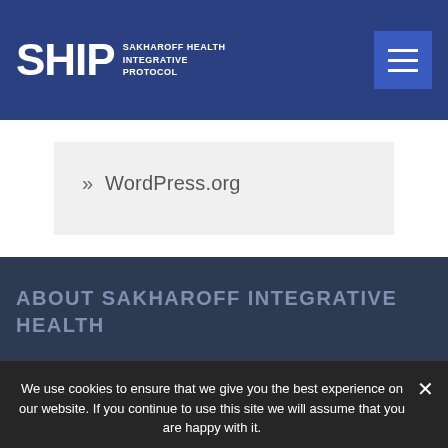SHIP SAKHAROFF HEALTH INTEGRATIVE PROTOCOL
» WordPress.org
ABOUT SAKHAROFF INTEGRATIVE HEALTH
We use cookies to ensure that we give you the best experience on our website. If you continue to use this site we will assume that you are happy with it.
Ok